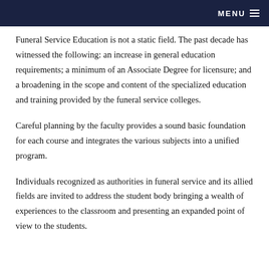MENU
Funeral Service Education is not a static field. The past decade has witnessed the following: an increase in general education requirements; a minimum of an Associate Degree for licensure; and a broadening in the scope and content of the specialized education and training provided by the funeral service colleges.
Careful planning by the faculty provides a sound basic foundation for each course and integrates the various subjects into a unified program.
Individuals recognized as authorities in funeral service and its allied fields are invited to address the student body bringing a wealth of experiences to the classroom and presenting an expanded point of view to the students.